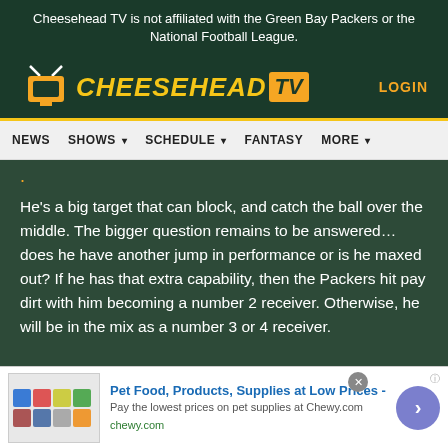Cheesehead TV is not affiliated with the Green Bay Packers or the National Football League.
[Figure (logo): Cheesehead TV logo with yellow text and orange TV box icon]
LOGIN
NEWS  SHOWS  SCHEDULE  FANTASY  MORE
He’s a big target that can block, and catch the ball over the middle. The bigger question remains to be answered…does he have another jump in performance or is he maxed out? If he has that extra capability, then the Packers hit pay dirt with him becoming a number 2 receiver. Otherwise, he will be in the mix as a number 3 or 4 receiver.
[Figure (screenshot): Advertisement for Chewy.com: Pet Food, Products, Supplies at Low Prices - Pay the lowest prices on pet supplies at Chewy.com]